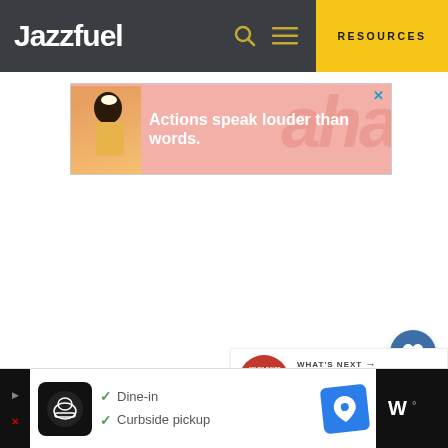Jazzfuel
RESOURCES
[Figure (screenshot): Advertisement banner: person illustration with text 'Actions speak louder than words.' on pink background]
[Figure (screenshot): What's Next section with Miles Davis album thumbnail and label 'WHAT'S NEXT → The Best Miles Davis Album...']
[Figure (screenshot): Bottom advertisement bar with restaurant listing: Dine-in, Curbside pickup]